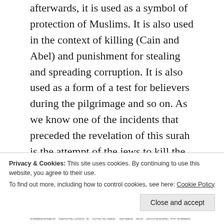afterwards, it is used as a symbol of protection of Muslims. It is also used in the context of killing (Cain and Abel) and punishment for stealing and spreading corruption. It is also used as a form of a test for believers during the pilgrimage and so on. As we know one of the incidents that preceded the revelation of this surah is the attempt of the jews to kill the messenger. Also, the whole sura is filled with the themes of blood, killing and violence(even in the section which deals with prohibited
Privacy & Cookies: This site uses cookies. By continuing to use this website, you agree to their use.
To find out more, including how to control cookies, see here: Cookie Policy
Close and accept
of your point where the motion of the hands doesn't occur but is somewhat